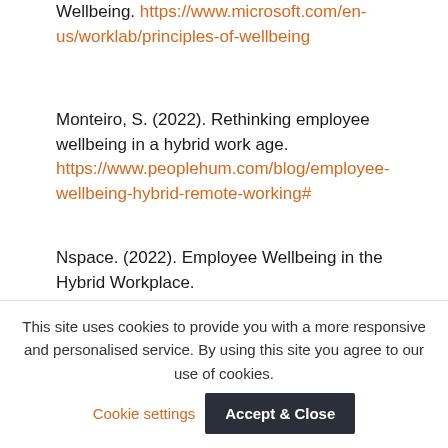Wellbeing. https://www.microsoft.com/en-us/worklab/principles-of-wellbeing
Monteiro, S. (2022). Rethinking employee wellbeing in a hybrid work age. https://www.peoplehum.com/blog/employee-wellbeing-hybrid-remote-working#
Nspace. (2022). Employee Wellbeing in the Hybrid Workplace. https://getnspace.com/blog/employee-wellbeing-in-the-hybrid-workplace/
Waida, M. (2021). What is Employee Wellbeing and
This site uses cookies to provide you with a more responsive and personalised service. By using this site you agree to our use of cookies. Cookie settings Accept & Close